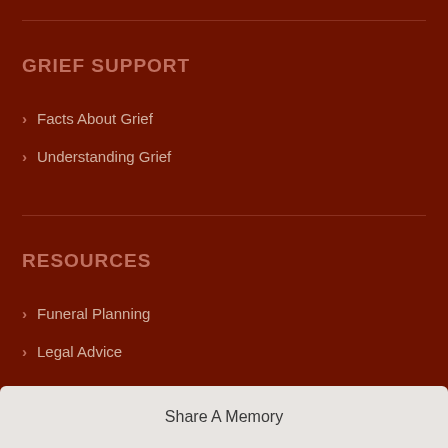GRIEF SUPPORT
Facts About Grief
Understanding Grief
RESOURCES
Funeral Planning
Legal Advice
OBITUARIES
Share A Memory